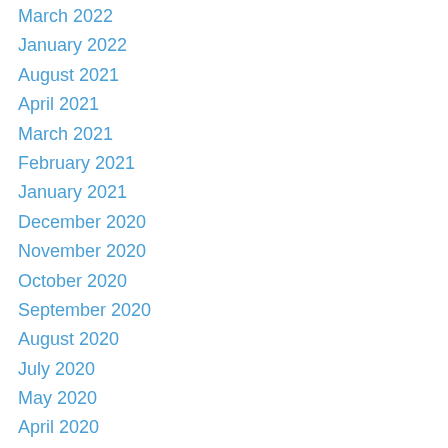March 2022
January 2022
August 2021
April 2021
March 2021
February 2021
January 2021
December 2020
November 2020
October 2020
September 2020
August 2020
July 2020
May 2020
April 2020
March 2020
January 2020
December 2019
November 2019
September 2019